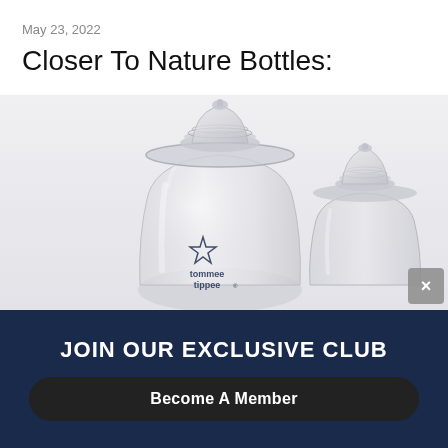May 23, 2022
Closer To Nature Bottles:
[Figure (photo): Two Tommee Tippee Closer to Nature baby bottles with clear silicone nipples on a light background. The larger bottle in front displays the Tommee Tippee star logo and brand name. A smaller bottle nipple is visible behind and to the right. A grey close (X) button is in the bottom-right corner.]
JOIN OUR EXCLUSIVE CLUB
Become A Member